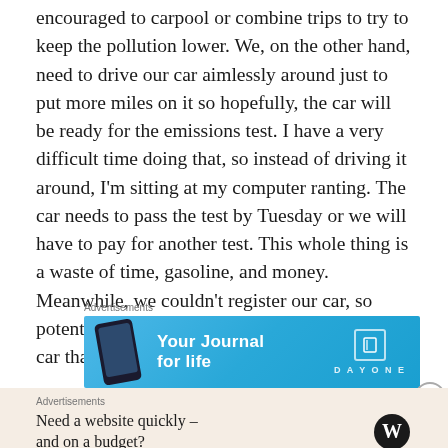encouraged to carpool or combine trips to try to keep the pollution lower. We, on the other hand, need to drive our car aimlessly around just to put more miles on it so hopefully, the car will be ready for the emissions test. I have a very difficult time doing that, so instead of driving it around, I'm sitting at my computer ranting. The car needs to pass the test by Tuesday or we will have to pay for another test. This whole thing is a waste of time, gasoline, and money. Meanwhile, we couldn't register our car, so potentially we could get in trouble for driving a car that isn't registered, too.
[Figure (other): Advertisement banner for Day One journal app with blue gradient background, phone graphic, 'Your Journal for life' text, and Day One logo]
[Figure (other): Advertisement for WordPress with beige background, 'Need a website quickly – and on a budget?' text and WordPress logo]